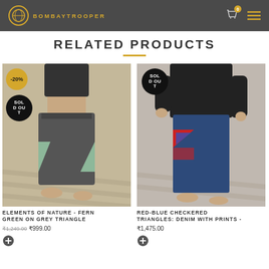BOMBAYTROOPER
RELATED PRODUCTS
[Figure (photo): Woman wearing dark grey and fern green triangle drop-crotch pants with SOLD OUT badge and -20% discount badge]
ELEMENTS OF NATURE - FERN GREEN ON GREY TRIANGLE
₹1,249.00  ₹999.00
[Figure (photo): Man wearing navy blue denim pants with red-blue checkered triangle prints, SOLD OUT badge]
RED-BLUE CHECKERED TRIANGLES: DENIM WITH PRINTS -
₹1,475.00